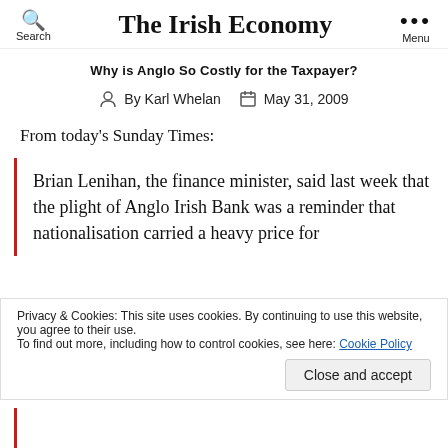The Irish Economy
Why is Anglo So Costly for the Taxpayer?
By Karl Whelan  May 31, 2009
From today's Sunday Times:
Brian Lenihan, the finance minister, said last week that the plight of Anglo Irish Bank was a reminder that nationalisation carried a heavy price for
Privacy & Cookies: This site uses cookies. By continuing to use this website, you agree to their use.
To find out more, including how to control cookies, see here: Cookie Policy